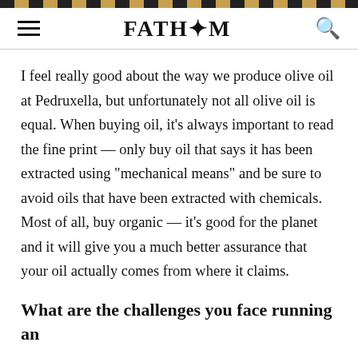FATH*M
I feel really good about the way we produce olive oil at Pedruxella, but unfortunately not all olive oil is equal. When buying oil, it's always important to read the fine print — only buy oil that says it has been extracted using "mechanical means" and be sure to avoid oils that have been extracted with chemicals. Most of all, buy organic — it's good for the planet and it will give you a much better assurance that your oil actually comes from where it claims.
What are the challenges you face running an